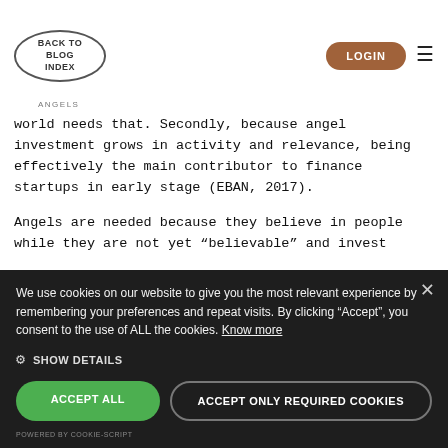BACK TO BLOG INDEX | LOGIN
world needs that. Secondly, because angel investment grows in activity and relevance, being effectively the main contributor to finance startups in early stage (EBAN, 2017).
Angels are needed because they believe in people while they are not yet “believable” and invest their own money and credibility in testing and validating ideas from unfamiliar people, stimulating new solutions, empowering young entrepreneurs that in many cases have no more than vague ideas.
We use cookies on our website to give you the most relevant experience by remembering your preferences and repeat visits. By clicking “Accept”, you consent to the use of ALL the cookies. Know more
⚙ SHOW DETAILS
ACCEPT ALL
ACCEPT ONLY REQUIRED COOKIES
POWERED BY COOKIE-SCRIPT